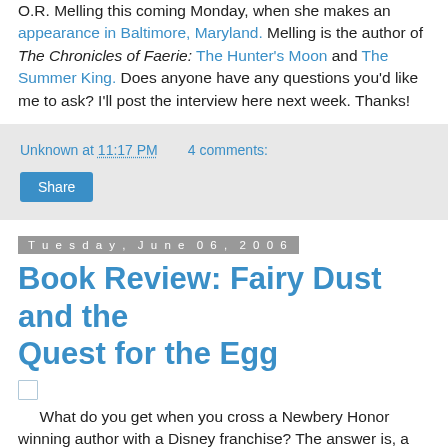O.R. Melling this coming Monday, when she makes an appearance in Baltimore, Maryland. Melling is the author of The Chronicles of Faerie: The Hunter's Moon and The Summer King. Does anyone have any questions you'd like me to ask? I'll post the interview here next week. Thanks!
Unknown at 11:17 PM   4 comments:
Share
Tuesday, June 06, 2006
Book Review: Fairy Dust and the Quest for the Egg
What do you get when you cross a Newbery Honor winning author with a Disney franchise? The answer is, a book that has great potential, but isn't quite as good as it could be. Don't get me wrong; I like Gail Carson Levine's Fairy Dust and the Quest for the Egg. It's a sweet book with strong appeal for young girls. It has a beautiful story about